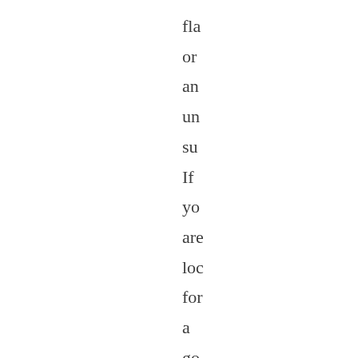fla or an und sur If you are loc for a goo sta for you iPa to pro it